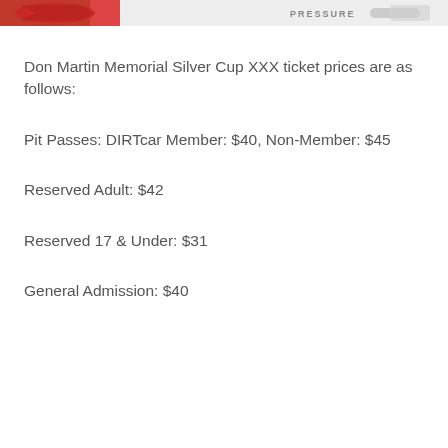[Figure (photo): Racing car image banner at top of page, showing a race car graphic with the word PRESSURE visible, with red and white colors]
Don Martin Memorial Silver Cup XXX ticket prices are as follows:
Pit Passes: DIRTcar Member: $40, Non-Member: $45
Reserved Adult: $42
Reserved 17 & Under: $31
General Admission: $40